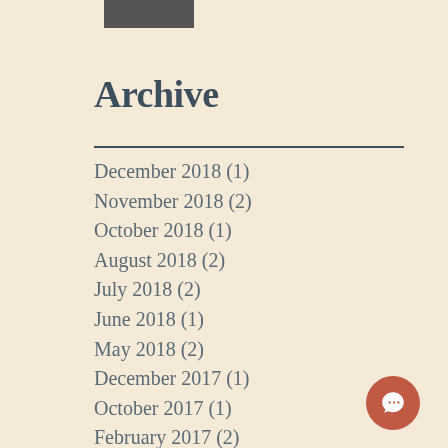[Figure (photo): Small photo thumbnail at top of sidebar]
Archive
December 2018 (1)
November 2018 (2)
October 2018 (1)
August 2018 (2)
July 2018 (2)
June 2018 (1)
May 2018 (2)
December 2017 (1)
October 2017 (1)
February 2017 (2)